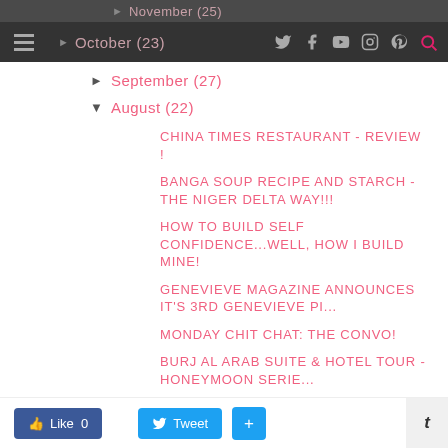Navigation bar with hamburger menu and social icons (Twitter, Facebook, YouTube, Instagram, Pinterest, Search)
▶ November (25)
▶ October (23)
▶ September (27)
▼ August (22)
CHINA TIMES RESTAURANT - REVIEW !
BANGA SOUP RECIPE AND STARCH - THE NIGER DELTA WAY!!!
HOW TO BUILD SELF CONFIDENCE...WELL, HOW I BUILD MINE!
GENEVIEVE MAGAZINE ANNOUNCES IT'S 3RD GENEVIEVE PI...
MONDAY CHIT CHAT: THE CONVO!
BURJ AL ARAB SUITE & HOTEL TOUR - HONEYMOON SERIE...
THE NIGERIAN COMMEMORATION C...
Like 0   Tweet   +   t